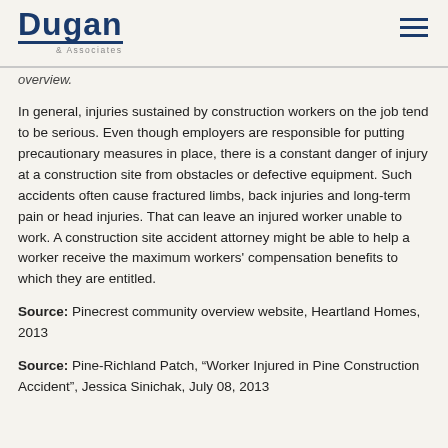Dugan & Associates
overview.
In general, injuries sustained by construction workers on the job tend to be serious. Even though employers are responsible for putting precautionary measures in place, there is a constant danger of injury at a construction site from obstacles or defective equipment. Such accidents often cause fractured limbs, back injuries and long-term pain or head injuries. That can leave an injured worker unable to work. A construction site accident attorney might be able to help a worker receive the maximum workers' compensation benefits to which they are entitled.
Source: Pinecrest community overview website, Heartland Homes, 2013
Source: Pine-Richland Patch, “Worker Injured in Pine Construction Accident”, Jessica Sinichak, July 08, 2013